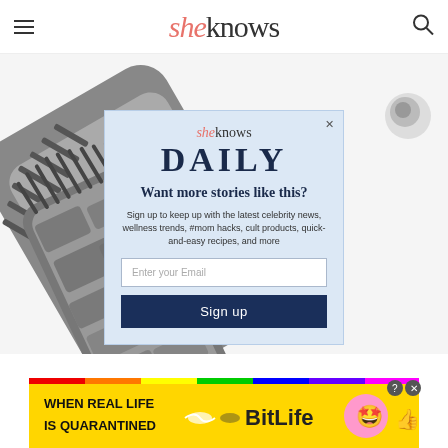sheknows
[Figure (photo): Close-up photo of a silver/gray hair brush with bristles visible, shown at an angle against a white background]
[Figure (screenshot): SheKnows Daily newsletter signup modal popup with email input field and Sign up button, overlaid on the hair brush photo]
[Figure (infographic): BitLife advertisement banner at the bottom reading WHEN REAL LIFE IS QUARANTINED with rainbow colors and cartoon emoji characters]